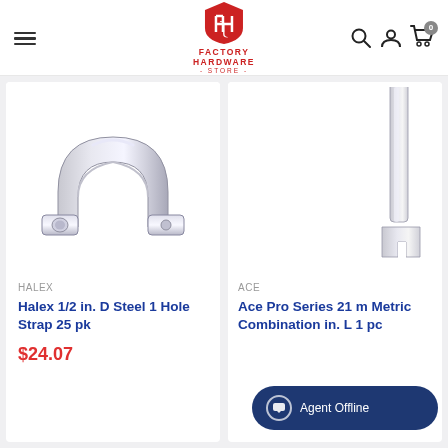Factory Hardware Store — navigation header with logo, hamburger menu, search, account, and cart icons
[Figure (photo): Halex 1/2 in. D Steel 1 Hole Strap product photo — chrome/silver U-shaped metal pipe strap]
HALEX
Halex 1/2 in. D Steel 1 Hole Strap 25 pk
$24.07
[Figure (photo): Ace Pro Series 21 mm Metric Combination wrench product photo — partially visible chrome wrench]
ACE
Ace Pro Series 21 m Metric Combination in. L 1 pc
Agent Offline